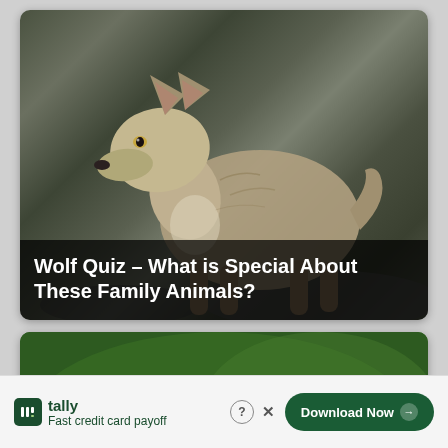[Figure (photo): A gray wolf standing on rocks with blurred green/gray forest background. The wolf faces slightly left, showing its full body profile.]
Wolf Quiz – What is Special About These Family Animals?
[Figure (photo): Close-up of a snake with dark gray/black scales and yellow banded markings, on a blurred dark green background.]
tally  Fast credit card payoff  Download Now →